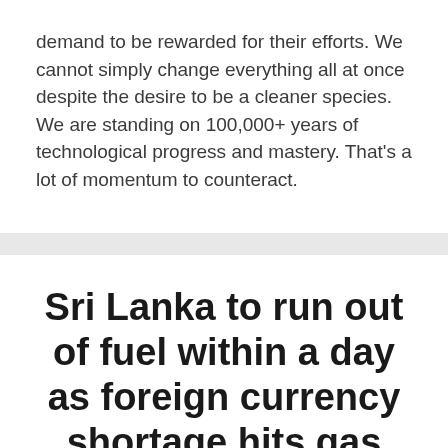demand to be rewarded for their efforts. We cannot simply change everything all at once despite the desire to be a cleaner species.
We are standing on 100,000+ years of technological progress and mastery. That's a lot of momentum to counteract.
Sri Lanka to run out of fuel within a day as foreign currency shortage hits gas